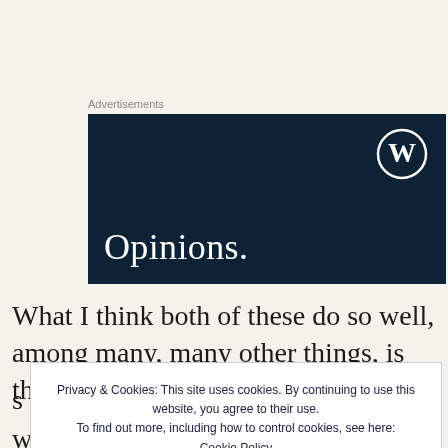[Figure (screenshot): Advertisement banner with dark navy background, WordPress logo (W in circle) at top right, and white serif text 'Opinions.' at bottom left. Label 'Advertisements' appears above.]
What I think both of these do so well, among many, many other things, is that they pull us into the story,
[Figure (screenshot): Cookie consent overlay popup with text: 'Privacy & Cookies: This site uses cookies. By continuing to use this website, you agree to their use. To find out more, including how to control cookies, see here: Cookie Policy' and a 'Close and accept' button at bottom right.]